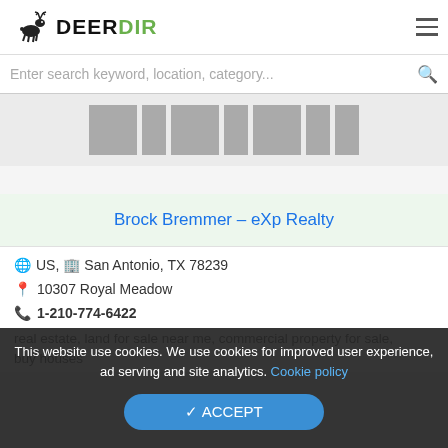DeerDir
Enter search keyword, location, category...
[Figure (photo): Photo strip with thumbnail images in gray placeholder blocks]
Brock Bremmer – eXp Realty
US, San Antonio, TX 78239
10307 Royal Meadow
1-210-774-6422
real estate, land for sale near me, commercial property for sale, buy houses
This website use cookies. We use cookies for improved user experience, ad serving and site analytics. Cookie policy
✔ ACCEPT